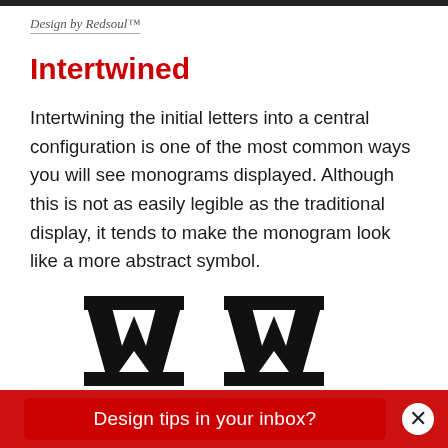Design by Redsoul™
Intertwined
Intertwining the initial letters into a central configuration is one of the most common ways you will see monograms displayed. Although this is not as easily legible as the traditional display, it tends to make the monogram look like a more abstract symbol.
[Figure (illustration): Intertwined monogram letters W shown in large black serif font, partially cropped at the bottom of the page]
Design tips in your inbox?